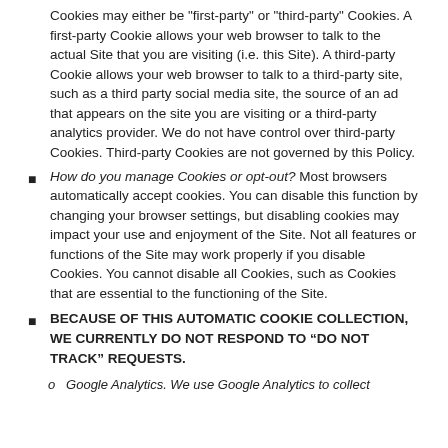Cookies may either be "first-party" or "third-party" Cookies. A first-party Cookie allows your web browser to talk to the actual Site that you are visiting (i.e. this Site). A third-party Cookie allows your web browser to talk to a third-party site, such as a third party social media site, the source of an ad that appears on the site you are visiting or a third-party analytics provider. We do not have control over third-party Cookies. Third-party Cookies are not governed by this Policy.
How do you manage Cookies or opt-out? Most browsers automatically accept cookies. You can disable this function by changing your browser settings, but disabling cookies may impact your use and enjoyment of the Site. Not all features or functions of the Site may work properly if you disable Cookies. You cannot disable all Cookies, such as Cookies that are essential to the functioning of the Site.
BECAUSE OF THIS AUTOMATIC COOKIE COLLECTION, WE CURRENTLY DO NOT RESPOND TO “DO NOT TRACK” REQUESTS.
o   Google Analytics. We use Google Analytics to collect